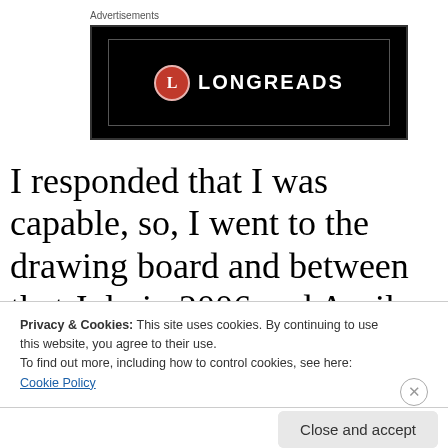Advertisements
[Figure (logo): Longreads advertisement banner: black background with red circle logo containing letter L and white text LONGREADS]
I responded that I was capable, so, I went to the drawing board and between that July in 2006 and April 2007, when we were given the nod to start
Privacy & Cookies: This site uses cookies. By continuing to use this website, you agree to their use.
To find out more, including how to control cookies, see here: Cookie Policy
Close and accept